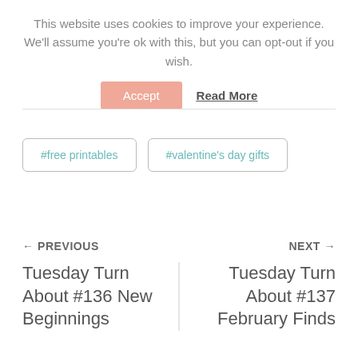This website uses cookies to improve your experience. We'll assume you're ok with this, but you can opt-out if you wish.
Accept   Read More
#free printables
#valentine's day gifts
← PREVIOUS
NEXT →
Tuesday Turn About #136 New Beginnings
Tuesday Turn About #137 February Finds